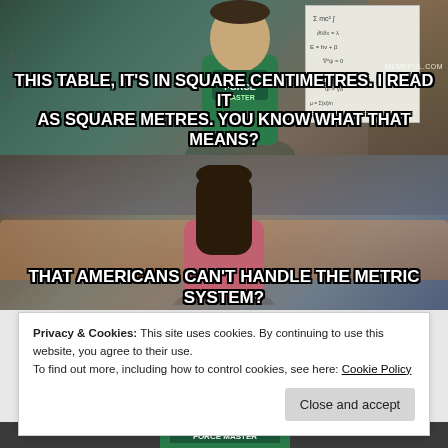[Figure (photo): Two-panel meme from The Big Bang Theory. Top panel shows Sheldon Cooper in a green t-shirt standing in front of a whiteboard. Bottom panel shows Amy Farrah Fowler sitting on a couch looking unimpressed. Text overlays read: 'THIS TABLE, IT'S IN SQUARE CENTIMETRES. I READ IT AS SQUARE METRES. YOU KNOW WHAT THAT MEANS?' and 'THAT AMERICANS CAN'T HANDLE THE METRIC SYSTEM?' with 'VIA 9GAG.COM' and 'MEMEFUL.COM' watermarks.]
Privacy & Cookies: This site uses cookies. By continuing to use this website, you agree to their use.
To find out more, including how to control cookies, see here: Cookie Policy
Close and accept